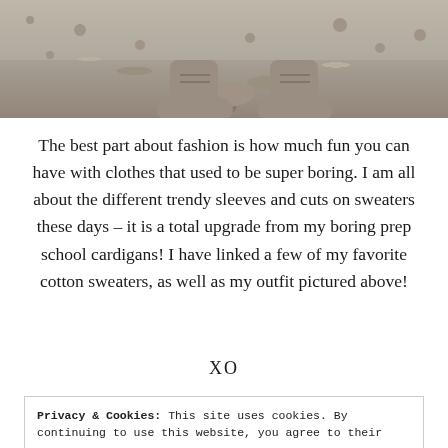[Figure (photo): Bottom portion of a photo showing someone's boots/ankles on a gravel surface, cropped at top of page]
The best part about fashion is how much fun you can have with clothes that used to be super boring.  I am all about the different trendy sleeves and cuts on sweaters these days – it is a total upgrade from my boring prep school cardigans!  I have linked a few of my favorite cotton sweaters, as well as my outfit pictured above!
XO
Privacy & Cookies: This site uses cookies. By continuing to use this website, you agree to their use.
To find out more, including how to control cookies, see here: Cookie Policy

Close and accept